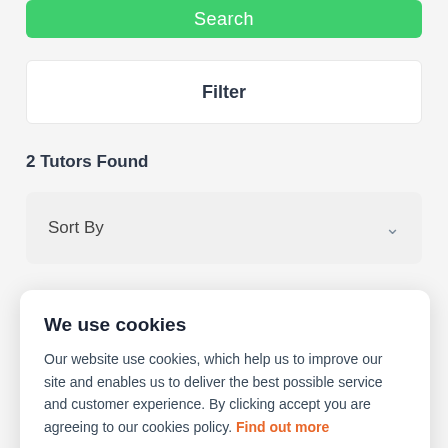Search
Filter
2 Tutors Found
Sort By
We use cookies
Our website use cookies, which help us to improve our site and enables us to deliver the best possible service and customer experience. By clicking accept you are agreeing to our cookies policy. Find out more
Accept